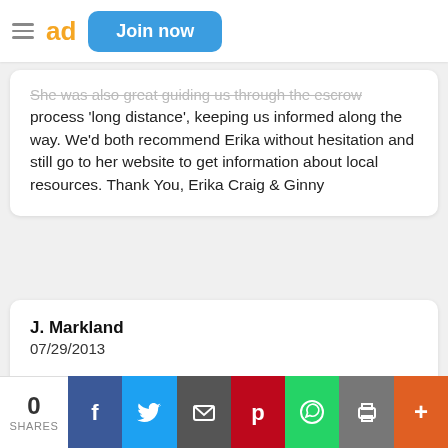ad | Join now
She was also great guiding us through the escrow process 'long distance', keeping us informed along the way. We'd both recommend Erika without hesitation and still go to her website to get information about local resources. Thank You, Erika Craig & Ginny
J. Markland
07/29/2013

Thank you for all of your help! I really appreciate you level of customer service and the answer to my endless questions.
M. Jones
0 SHARES | Facebook | Twitter | Email | Pinterest | WhatsApp | Print | More